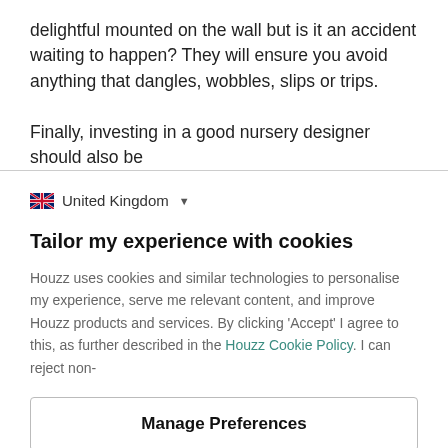delightful mounted on the wall but is it an accident waiting to happen? They will ensure you avoid anything that dangles, wobbles, slips or trips.
Finally, investing in a good nursery designer should also be
United Kingdom
Tailor my experience with cookies
Houzz uses cookies and similar technologies to personalise my experience, serve me relevant content, and improve Houzz products and services. By clicking 'Accept' I agree to this, as further described in the Houzz Cookie Policy. I can reject non-
Manage Preferences
Accept